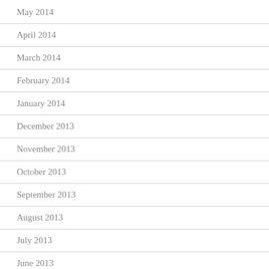May 2014
April 2014
March 2014
February 2014
January 2014
December 2013
November 2013
October 2013
September 2013
August 2013
July 2013
June 2013